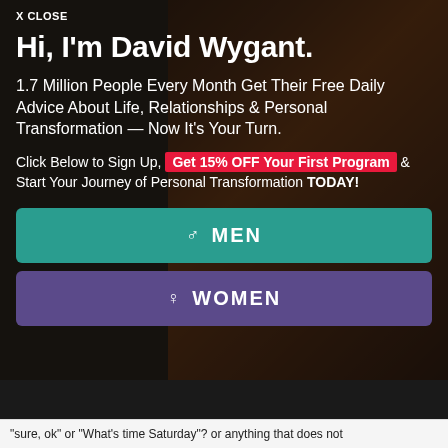X CLOSE
Hi, I'm David Wygant.
1.7 Million People Every Month Get Their Free Daily Advice About Life, Relationships & Personal Transformation — Now It's Your Turn.
Click Below to Sign Up, Get 15% OFF Your First Program & Start Your Journey of Personal Transformation TODAY!
♂ MEN
♀ WOMEN
"sure, ok" or "What's time Saturday"? or anything that does not